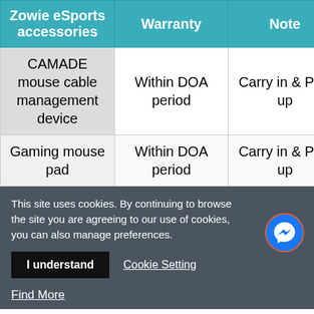| Zowie eSports accessories | Warranty | Note |
| --- | --- | --- |
| CAMADE mouse cable management device | Within DOA period | Carry in & Pick up |
| Gaming mouse pad | Within DOA period | Carry in & Pick up |
This site uses cookies. By continuing to browse the site you are agreeing to our use of cookies, you can also manage preferences.
I understand
Cookie Setting
Find More